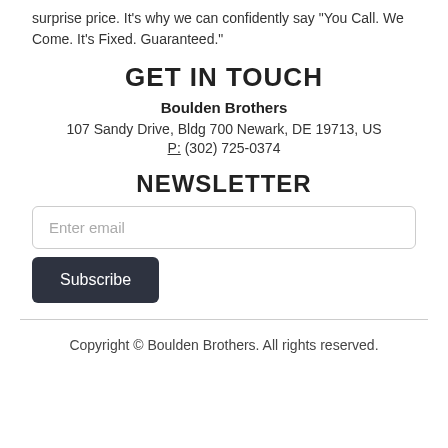surprise price. It's why we can confidently say "You Call. We Come. It's Fixed. Guaranteed."
GET IN TOUCH
Boulden Brothers
107 Sandy Drive, Bldg 700 Newark, DE 19713, US
P: (302) 725-0374
NEWSLETTER
Enter email
Subscribe
Copyright © Boulden Brothers. All rights reserved.